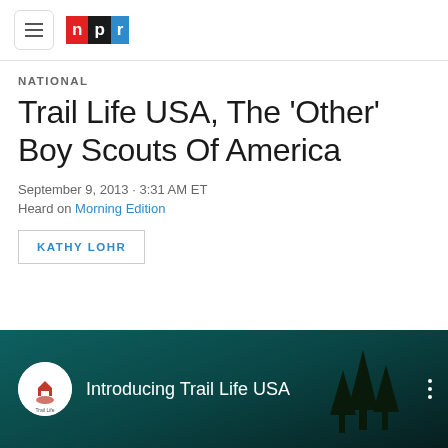NPR logo and navigation
NATIONAL
Trail Life USA, The 'Other' Boy Scouts Of America
September 9, 2013 · 3:31 AM ET
Heard on Morning Edition
KATHY LOHR
[Figure (screenshot): YouTube video thumbnail for 'Introducing Trail Life USA' with Trail Life logo, dark teal night scene with tree silhouettes]